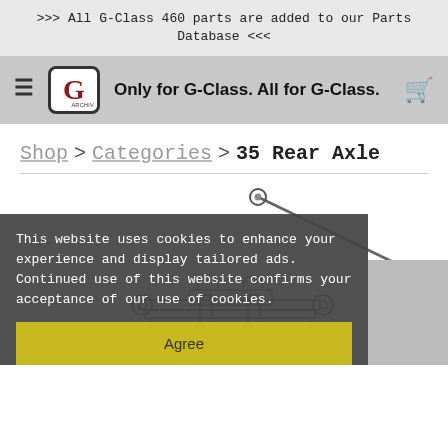>>> All G-Class 460 parts are added to our Parts Database <<<
[Figure (logo): G-Archiv logo with hamburger menu, G in red box, tagline 'Only for G-Class. All for G-Class.' and cart icon]
Shop > Categories > 35 Rear Axle
[Figure (illustration): Line drawing of rear axle components including leaf spring and suspension rod]
This website uses cookies to enhance your experience and display tailored ads. Continued use of this website confirms your acceptance of our use of cookies.
Agree